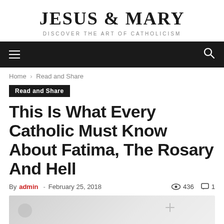JESUS & MARY
DISCOVER THE ART OF CATHOLICISM
Home › Read and Share
Read and Share
This Is What Every Catholic Must Know About Fatima, The Rosary And Hell
By admin - February 25, 2018   436   1
[Figure (photo): Partially visible article image at the bottom of the page, showing a light grey placeholder with a circular icon on the left and a cross/plus icon on the right]